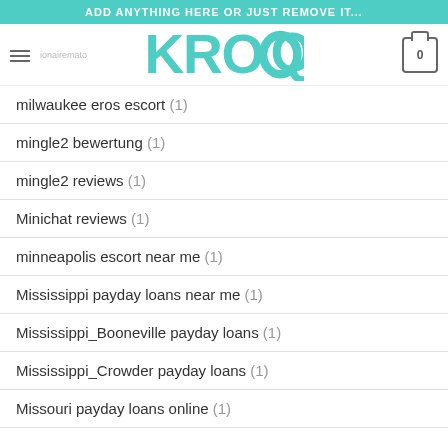ADD ANYTHING HERE OR JUST REMOVE IT...
[Figure (logo): KROQ logo in teal/turquoise color with shopping cart icon and hamburger menu]
milwaukee eros escort (1)
mingle2 bewertung (1)
mingle2 reviews (1)
Minichat reviews (1)
minneapolis escort near me (1)
Mississippi payday loans near me (1)
Mississippi_Booneville payday loans (1)
Mississippi_Crowder payday loans (1)
Missouri payday loans online (1)